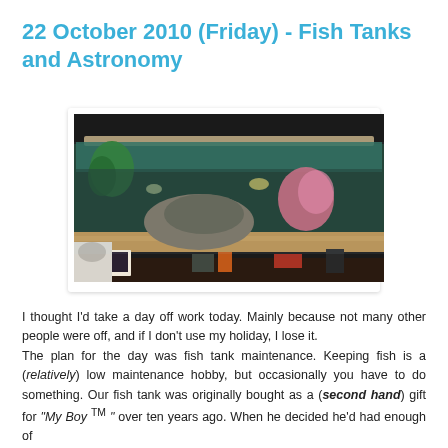22 October 2010 (Friday) - Fish Tanks and Astronomy
[Figure (photo): A fish tank/aquarium with fish, decorations, sandy substrate, and various items on desk in front and around the tank]
I thought I'd take a day off work today. Mainly because not many other people were off, and if I don't use my holiday, I lose it.
The plan for the day was fish tank maintenance. Keeping fish is a (relatively) low maintenance hobby, but occasionally you have to do something. Our fish tank was originally bought as a (second hand) gift for "My Boy TM" over ten years ago. When he decided he'd had enough of